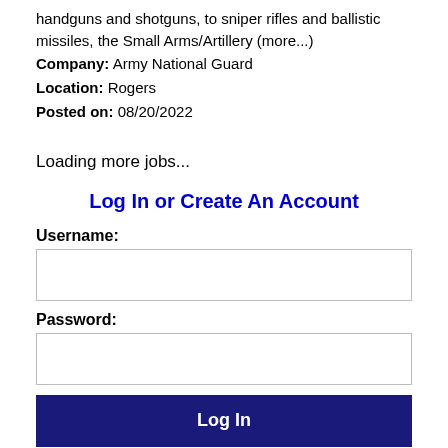handguns and shotguns, to sniper rifles and ballistic missiles, the Small Arms/Artillery (more...)
Company: Army National Guard
Location: Rogers
Posted on: 08/20/2022
Loading more jobs...
Log In or Create An Account
Username:
Password:
Log In
Forgot password?